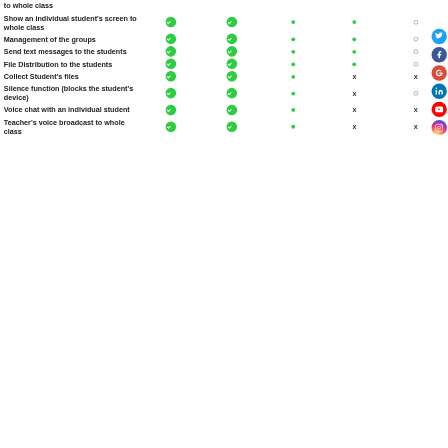| Feature | Col1 | Col2 | Col3 | Col4 | Col5 |
| --- | --- | --- | --- | --- | --- |
| to whole class | ✓ | ✓ | • | • | ○ |
| Show an individual student's screen to whole class | ✓ | ✓ | • | • | ○ |
| Management of the groups | ✓ | ✓ | • | • | ○ |
| Send text messages to the students | ✓ | ✓ | • | • | ○ |
| File Distribution to the students | ✓ | ✓ | • | • | ○ |
| Collect Student's files | ✓ | ✓ | • | x | x |
| Silence function (blocks the student's device) | ✓ | ✓ | • | x | ○ |
| Voice chat with an individual student | ✓ | ✓ | • | x | x |
| Teacher's voice broadcast to whole class | ✓ | ✓ | • | x | x |
[Figure (illustration): Social media icons: Twitter, Facebook, Google+, LinkedIn, YouTube, Instagram]